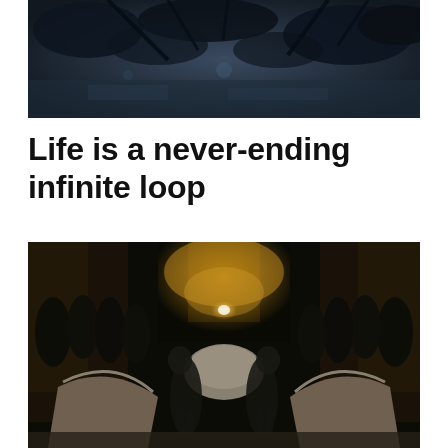[Figure (photo): Top photo showing a dark overhead view of trees and surroundings with a bluish-dark tone, appearing to be looking upward at night.]
Life is a never-ending infinite loop
[Figure (photo): Photo of people dressed in dark clothing in an outdoor urban alleyway at night, with warm orange ambient lighting in the background. Figures are arranged in a circular or looping pattern around a central stone or concrete structure. Motion blur is visible on the central figures giving a sense of movement.]